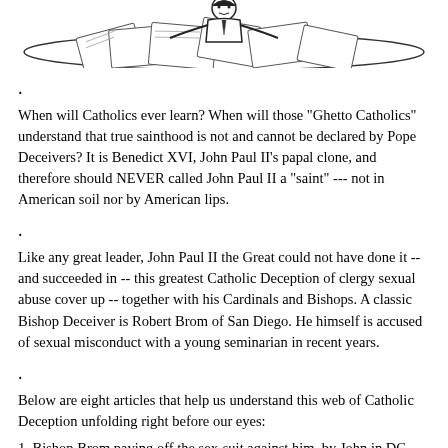[Figure (illustration): Black and white illustration showing a person behind a desk covered with papers, appearing to be a satirical or editorial cartoon figure]
.
When will Catholics ever learn? When will those "Ghetto Catholics" understand that true sainthood is not and cannot be declared by Pope Deceivers? It is Benedict XVI, John Paul II's papal clone, and therefore should NEVER called John Paul II a "saint" --- not in American soil nor by American lips.
.
Like any great leader, John Paul II the Great could not have done it -- and succeeded in -- this greatest Catholic Deception of clergy sexual abuse cover up -- together with his Cardinals and Bishops. A classic Bishop Deceiver is Robert Brom of San Diego. He himself is accused of sexual misconduct with a young seminarian in recent years.
.
Below are eight articles that help us understand this web of Catholic Deception unfolding right before our eyes:
1. Bishop Brom paying off the sex-suit against him, by John in DC